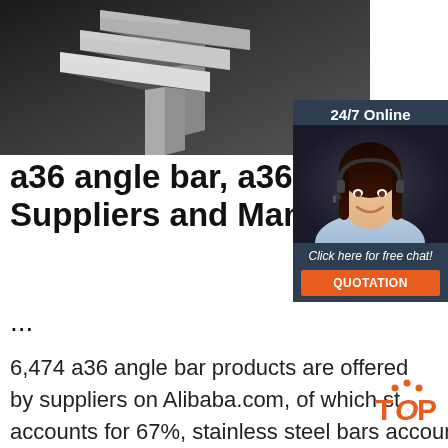[Figure (photo): Close-up photo of silver/grey steel L-shaped angle bars stacked together on a dark background]
[Figure (photo): 24/7 Online chat widget with a female customer service agent wearing a headset, a 'Click here for free chat!' message, and an orange QUOTATION button]
a36 angle bar, a36 angle bar Suppliers and Manufacturers ...
6,474 a36 angle bar products are offered by suppliers on Alibaba.com, of which steel angles accounts for 67%, stainless steel bars accounts for 1%, and stainless steel angles accounts for 1%. A wide variety of a36 angle bar options are available to you, such as aisi, astm, and gb. You can also choose from bending, punching, and welding ...